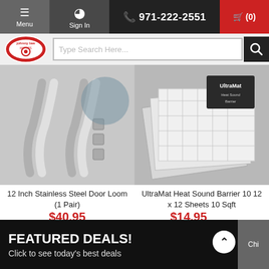Menu  Sign In  971-222-2551  (0)
[Figure (screenshot): Johnny Law Motors logo — circular red and white badge with gear/wheel graphic]
Type Search Here...
[Figure (photo): 12 Inch Stainless Steel Door Loom product photo showing curved stainless tubes and nuts]
12 Inch Stainless Steel Door Loom (1 Pair)
$40.95
[Figure (photo): UltraMat Heat Sound Barrier product photo showing silver reflective sheets with packaging]
UltraMat Heat Sound Barrier 10 12 x 12 Sheets 10 Sqft
$14.95
FEATURED DEALS!
Click to see today's best deals